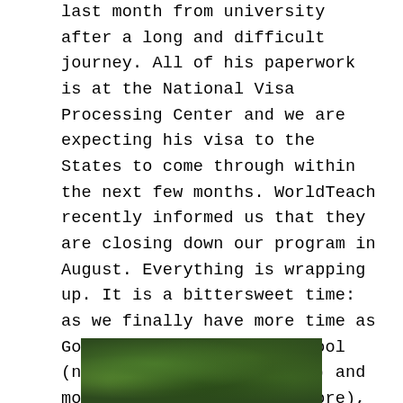last month from university after a long and difficult journey. All of his paperwork is at the National Visa Processing Center and we are expecting his visa to the States to come through within the next few months. WorldTeach recently informed us that they are closing down our program in August. Everything is wrapping up. It is a bittersweet time: as we finally have more time as Gonza is no longer in school (no more weekend studying) and more money (he can work more), we are able to travel more and enjoy life more fully. Yet the future weighs heavily on my thoughts. Gonza and I are both struggling to remain focused on the present when we are on the brink of an enormous change. The circle is closing, as he says.
[Figure (photo): Partial photograph showing green foliage/trees, visible at the bottom of the page]